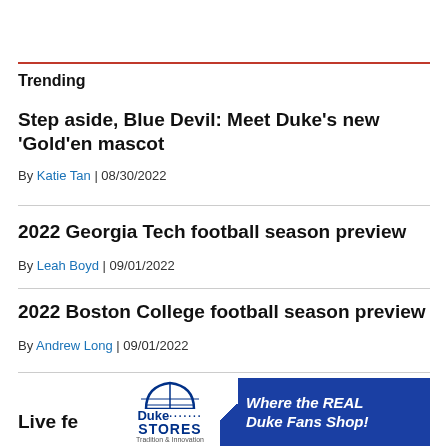Trending
Step aside, Blue Devil: Meet Duke's new 'Gold'en mascot
By Katie Tan | 08/30/2022
2022 Georgia Tech football season preview
By Leah Boyd | 09/01/2022
2022 Boston College football season preview
By Andrew Long | 09/01/2022
Live fe
[Figure (advertisement): Duke Stores advertisement: Where the REAL Duke Fans Shop!]